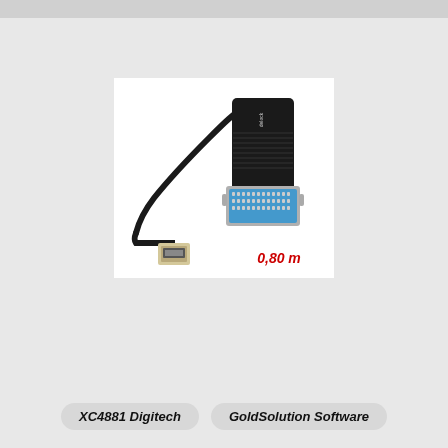[Figure (photo): USB to parallel (Centronics 36-pin) adapter cable, approximately 0.80 m long. Black cable with USB Type-A connector on one end and a blue Centronics 36-pin parallel port connector on the other. The adapter block has 'Delock' branding. The measurement '0,80 m' is shown in red italic text.]
XC4881 Digitech
GoldSolution Software